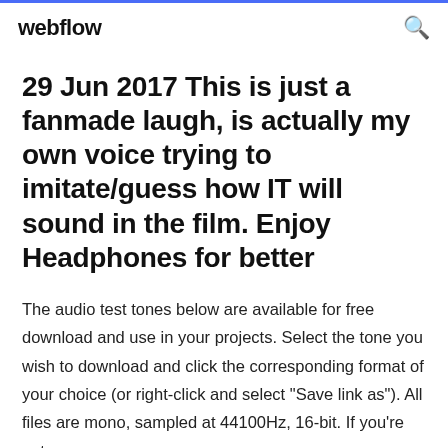webflow
29 Jun 2017 This is just a fanmade laugh, is actually my own voice trying to imitate/guess how IT will sound in the film. Enjoy Headphones for better
The audio test tones below are available for free download and use in your projects. Select the tone you wish to download and click the corresponding format of your choice (or right-click and select "Save link as"). All files are mono, sampled at 44100Hz, 16-bit. If you're not